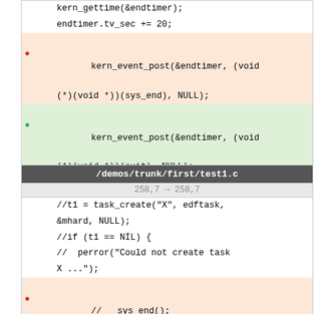[Figure (screenshot): Code diff block (top) showing removed and added kern_event_post lines among surrounding code lines including kern_gettime, endtimer.tv_sec, hard_task_default_model, hard_task_def_mit]
[Figure (screenshot): Code diff block for /demos/trunk/first/test1.c at hunk 258,7 -> 258,7, showing commented-out task_create, if/NIL/perror blocks, and removed sys_end vs added exit(1), followed by hard_task_def_mit]